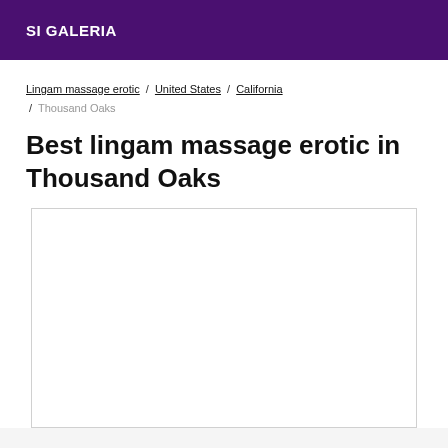SI GALERIA
Lingam massage erotic / United States / California / Thousand Oaks
Best lingam massage erotic in Thousand Oaks
[Figure (other): Empty white image box with light grey border]